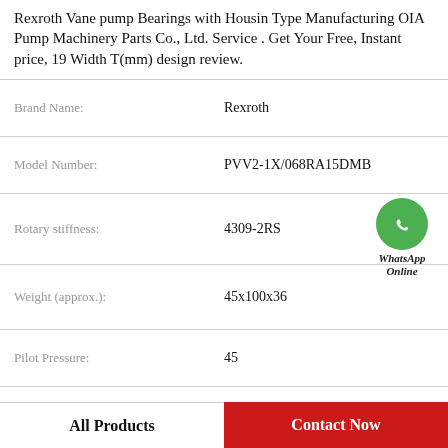Rexroth Vane pump Bearings with Housin Type Manufacturing OIA Pump Machinery Parts Co., Ltd. Service . Get Your Free, Instant price, 19 Width T(mm) design review.
| Attribute | Value |
| --- | --- |
| Brand Name: | Rexroth |
| Model Number: | PVV2-1X/068RA15DMB |
| Rotary stiffness: | 4309-2RS |
| Weight (approx.): | 45x100x36 |
| Pilot Pressure: | 45 |
| Maximum Volume Flow: | 100 |
| Sequence Valve: | 36 |
| Maximum Capacity/Pilot Pressure: | 45 |
[Figure (logo): WhatsApp Online green circle icon with phone handset, labeled WhatsApp Online]
All Products
Contact Now